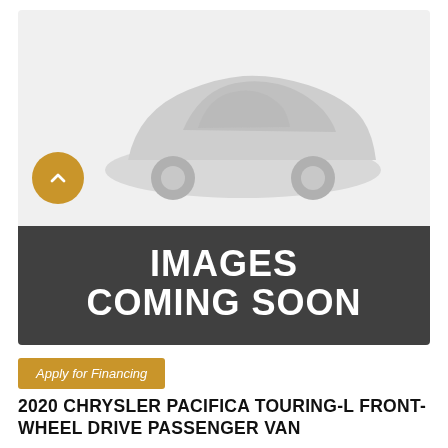[Figure (photo): Car listing placeholder image with gray car silhouette on light gray background, overlaid with 'IMAGES COMING SOON' dark banner, and a golden navigation chevron button on the left side]
Apply for Financing
2020 CHRYSLER PACIFICA TOURING-L FRONT-WHEEL DRIVE PASSENGER VAN